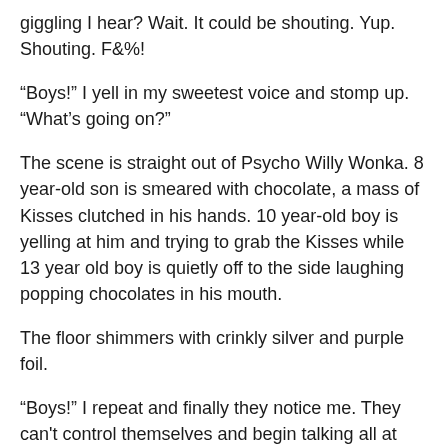giggling I hear? Wait. It could be shouting. Yup. Shouting. F&%!
“Boys!” I yell in my sweetest voice and stomp up. “What’s going on?”
The scene is straight out of Psycho Willy Wonka. 8 year-old son is smeared with chocolate, a mass of Kisses clutched in his hands. 10 year-old boy is yelling at him and trying to grab the Kisses while 13 year old boy is quietly off to the side laughing popping chocolates in his mouth.
The floor shimmers with crinkly silver and purple foil.
“Boys!” I repeat and finally they notice me. They can’t control themselves and begin talking all at once. The outpouring of love is overshadowed by a lot of annoying complaining and petty bullshit.